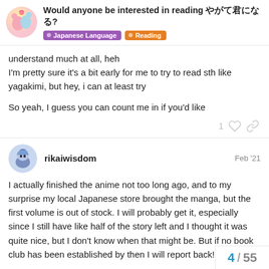Would anyone be interested in reading やがて君になる? | Japanese Language | Reading
understand much at all, heh
I'm pretty sure it's a bit early for me to try to read sth like yagakimi, but hey, i can at least try

So yeah, I guess you can count me in if you'd like
rikaiwisdom — Feb '21

I actually finished the anime not too long ago, and to my surprise my local Japanese store brought the manga, but the first volume is out of stock. I will probably get it, especially since I still have like half of the story left and I thought it was quite nice, but I don't know when that might be. But if no book club has been established by then I will report back!
4 / 55